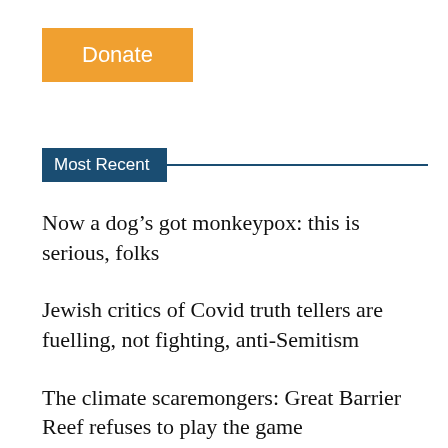[Figure (other): Orange Donate button]
Most Recent
Now a dog’s got monkeypox: this is serious, folks
Jewish critics of Covid truth tellers are fuelling, not fighting, anti-Semitism
The climate scaremongers: Great Barrier Reef refuses to play the game
A Canadian sacrifice: The Dieppe Raid